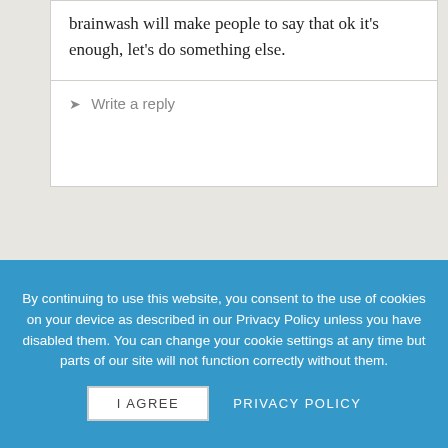brainwash will make people to say that ok it's enough, let's do something else.
Write a reply
Davide Zoran Parenti · April 6th, 2015 ·
Not compatible! But the arouse of this illiberal but popular (and populist)
By continuing to use this website, you consent to the use of cookies on your device as described in our Privacy Policy unless you have disabled them. You can change your cookie settings at any time but parts of our site will not function correctly without them.
I AGREE
PRIVACY POLICY